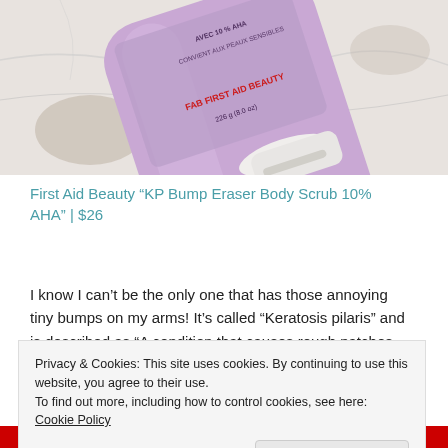[Figure (photo): A purple tube of First Aid Beauty KP Bump Eraser Body Scrub 10% AHA (226g / 8.0 oz) lying on a marble surface. The label shows 'FAB FIRST AID BEAUTY' in red text.]
First Aid Beauty “KP Bump Eraser Body Scrub 10% AHA” | $26
I know I can’t be the only one that has those annoying tiny bumps on my arms! It’s called “Keratosis pilaris” and is described as “A condition that causes rough patches and
Privacy & Cookies: This site uses cookies. By continuing to use this website, you agree to their use.
To find out more, including how to control cookies, see here: Cookie Policy